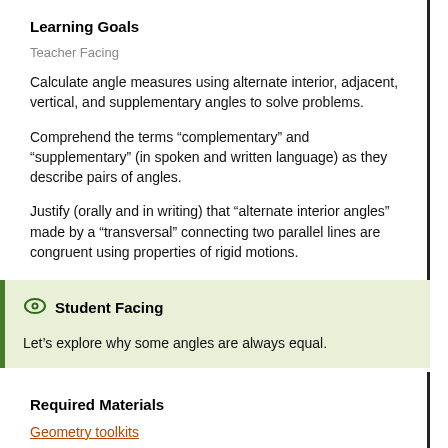Learning Goals
Teacher Facing
Calculate angle measures using alternate interior, adjacent, vertical, and supplementary angles to solve problems.
Comprehend the terms “complementary” and “supplementary” (in spoken and written language) as they describe pairs of angles.
Justify (orally and in writing) that “alternate interior angles” made by a “transversal” connecting two parallel lines are congruent using properties of rigid motions.
Student Facing
Let’s explore why some angles are always equal.
Required Materials
Geometry toolkits